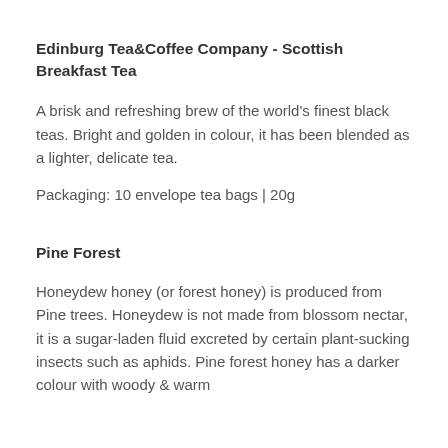Edinburg Tea&Coffee Company - Scottish Breakfast Tea
A brisk and refreshing brew of the world's finest black teas. Bright and golden in colour, it has been blended as a lighter, delicate tea.
Packaging: 10 envelope tea bags | 20g
Pine Forest
Honeydew honey (or forest honey) is produced from Pine trees. Honeydew is not made from blossom nectar, it is a sugar-laden fluid excreted by certain plant-sucking insects such as aphids. Pine forest honey has a darker colour with woody & warm